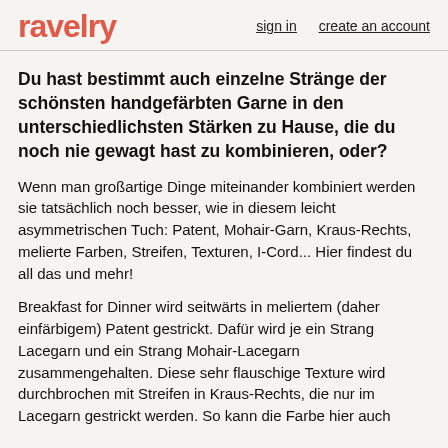ravelry  sign in  create an account
Du hast bestimmt auch einzelne Stränge der schönsten handgefärbten Garne in den unterschiedlichsten Stärken zu Hause, die du noch nie gewagt hast zu kombinieren, oder?
Wenn man großartige Dinge miteinander kombiniert werden sie tatsächlich noch besser, wie in diesem leicht asymmetrischen Tuch: Patent, Mohair-Garn, Kraus-Rechts, melierte Farben, Streifen, Texturen, I-Cord... Hier findest du all das und mehr!
Breakfast for Dinner wird seitwärts in meliertem (daher einfärbigem) Patent gestrickt. Dafür wird je ein Strang Lacegarn und ein Strang Mohair-Lacegarn zusammengehalten. Diese sehr flauschige Texture wird durchbrochen mit Streifen in Kraus-Rechts, die nur im Lacegarn gestrickt werden. So kann die Farbe hier auch